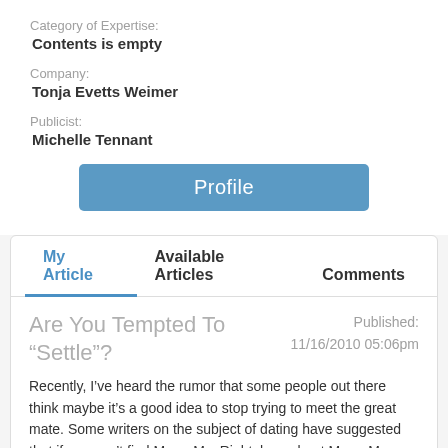Category of Expertise:
Contents is empty
Company:
Tonja Evetts Weimer
Publicist:
Michelle Tennant
Profile
My Article
Available Articles
Comments
Are You Tempted To “Settle”?
Published:
11/16/2010 05:06pm
Recently, I’ve heard the rumor that some people out there think maybe it’s a good idea to stop trying to meet the great mate. Some writers on the subject of dating have suggested that if you can’t find Mr. or Ms. Right, how about Mr. or Ms.